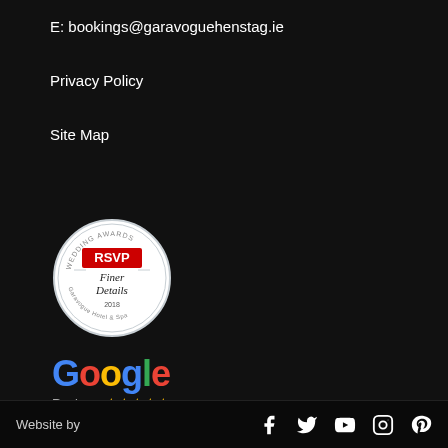E: bookings@garavoguehenstag.ie
Privacy Policy
Site Map
[Figure (logo): RSVP Wedding Awards Finer Details 2018 circular badge/seal with Garavogue Hotel & Spa text]
[Figure (logo): Google Reviews logo with 5-star rating]
Website by [social icons: Facebook, Twitter, YouTube, Instagram, Pinterest]